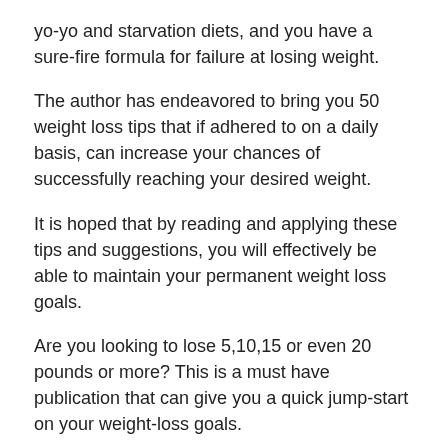yo-yo and starvation diets, and you have a sure-fire formula for failure at losing weight.
The author has endeavored to bring you 50 weight loss tips that if adhered to on a daily basis, can increase your chances of successfully reaching your desired weight.
It is hoped that by reading and applying these tips and suggestions, you will effectively be able to maintain your permanent weight loss goals.
Are you looking to lose 5,10,15 or even 20 pounds or more? This is a must have publication that can give you a quick jump-start on your weight-loss goals.
Get the quick download now for only $2.99 (pdf – epub – mobi)